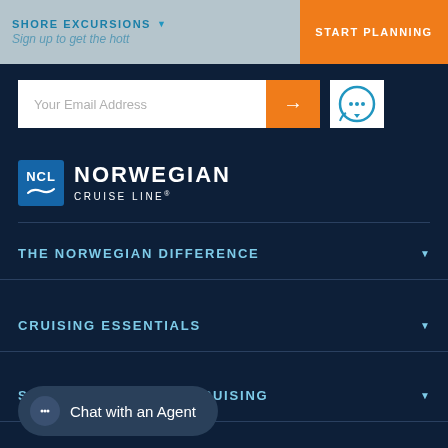SHORE EXCURSIONS | START PLANNING | Sign up to get the hott
Your Email Address
[Figure (logo): Norwegian Cruise Line (NCL) logo with blue box containing NCL text and wave, followed by NORWEGIAN CRUISE LINE® text]
THE NORWEGIAN DIFFERENCE
CRUISING ESSENTIALS
SPECIALS & THEMED CRUISING
Chat with an Agent